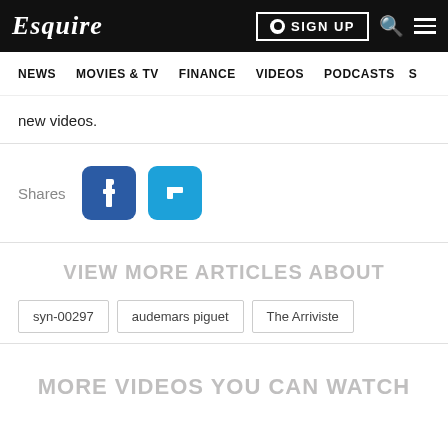Esquire
NEWS  MOVIES & TV  FINANCE  VIDEOS  PODCASTS
new videos.
[Figure (infographic): Social share buttons: Facebook (dark blue) and Twitter (light blue), preceded by 'Shares' label]
VIEW MORE ARTICLES ABOUT
syn-00297
audemars piguet
The Arriviste
MORE VIDEOS YOU CAN WATCH